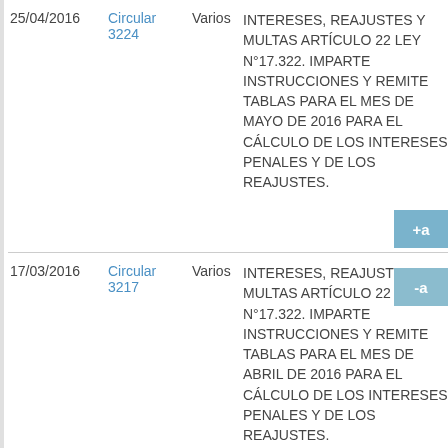| Fecha | Tipo | Destinatario | Descripción |
| --- | --- | --- | --- |
| 25/04/2016 | Circular 3224 | Varios | INTERESES, REAJUSTES Y MULTAS ARTÍCULO 22 LEY N°17.322. IMPARTE INSTRUCCIONES Y REMITE TABLAS PARA EL MES DE MAYO DE 2016 PARA EL CÁLCULO DE LOS INTERESES PENALES Y DE LOS REAJUSTES. |
| 17/03/2016 | Circular 3217 | Varios | INTERESES, REAJUSTES Y MULTAS ARTÍCULO 22 LEY N°17.322. IMPARTE INSTRUCCIONES Y REMITE TABLAS PARA EL MES DE ABRIL DE 2016 PARA EL CÁLCULO DE LOS INTERESES PENALES Y DE LOS REAJUSTES. |